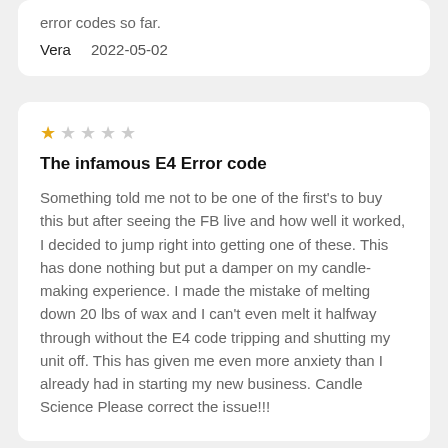error codes so far.
Vera    2022-05-02
★☆☆☆☆
The infamous E4 Error code
Something told me not to be one of the first's to buy this but after seeing the FB live and how well it worked, I decided to jump right into getting one of these. This has done nothing but put a damper on my candle-making experience. I made the mistake of melting down 20 lbs of wax and I can't even melt it halfway through without the E4 code tripping and shutting my unit off. This has given me even more anxiety than I already had in starting my new business. Candle Science Please correct the issue!!!